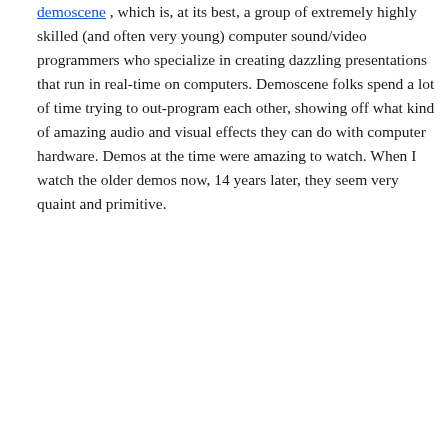demoscene , which is, at its best, a group of extremely highly skilled (and often very young) computer sound/video programmers who specialize in creating dazzling presentations that run in real-time on computers. Demoscene folks spend a lot of time trying to out-program each other, showing off what kind of amazing audio and visual effects they can do with computer hardware. Demos at the time were amazing to watch. When I watch the older demos now, 14 years later, they seem very quaint and primitive.